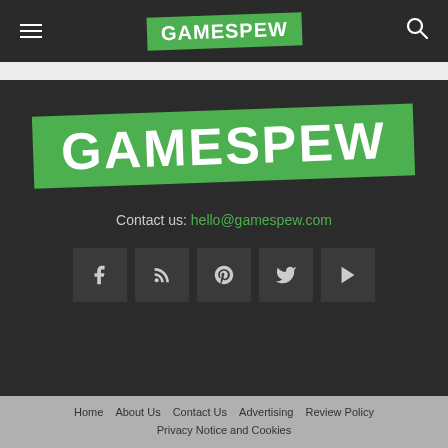GAMESPEW
[Figure (logo): GAMESPEW logo - white bold text on green tilted badge, large centered]
Contact us: hello@gamespew.com
[Figure (infographic): Social media icon buttons: Facebook, RSS, Steam, Twitter, YouTube]
Home  About Us  Contact Us  Advertising  Review Policy  Privacy Notice and Cookies